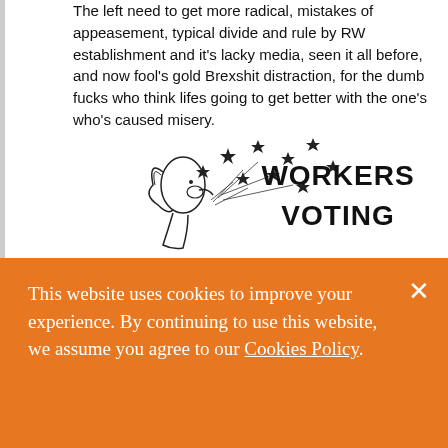The left need to get more radical, mistakes of appeasement, typical divide and rule by RW establishment and it's lacky media, seen it all before, and now fool's gold Brexshit distraction, for the dumb fucks who think lifes going to get better with the one's who's caused misery.
[Figure (illustration): Black and white illustration of a person blowing stars, with bold text reading 'WORKERS VOTING' to the right]
This website uses cookies to improve your experience. By continuing to use this website, we assume you agree to our Cookies Policy.